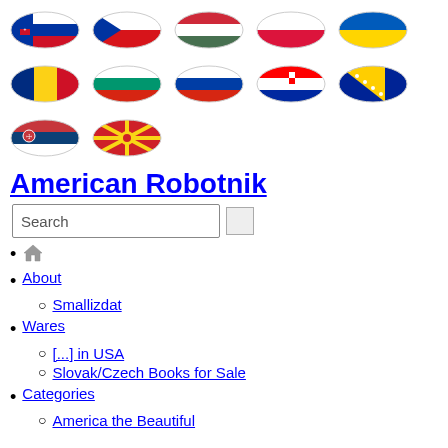[Figure (illustration): Three rows of US map silhouettes overlaid with European country flags: Row 1: Slovakia, Czech Republic, Hungary, Poland, Ukraine. Row 2: Romania, Bulgaria, Slovenia, Croatia, Bosnia and Herzegovina. Row 3: Serbia, North Macedonia.]
American Robotnik
[Figure (screenshot): Search input box with a small button to the right]
(home icon)
About
Smallizdat
Wares
[...] in USA
Slovak/Czech Books for Sale
Categories
America the Beautiful